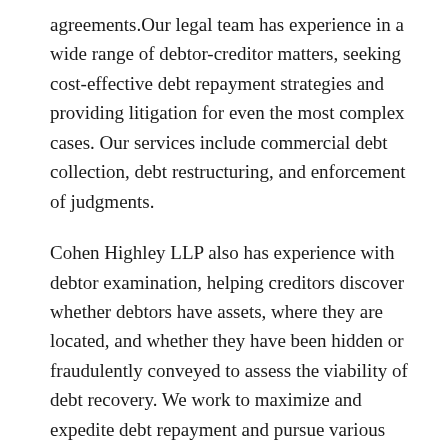agreements.Our legal team has experience in a wide range of debtor-creditor matters, seeking cost-effective debt repayment strategies and providing litigation for even the most complex cases. Our services include commercial debt collection, debt restructuring, and enforcement of judgments.
Cohen Highley LLP also has experience with debtor examination, helping creditors discover whether debtors have assets, where they are located, and whether they have been hidden or fraudulently conveyed to assess the viability of debt recovery. We work to maximize and expedite debt repayment and pursue various methods for the recovery of assets, including property repossession and wage garnishment.